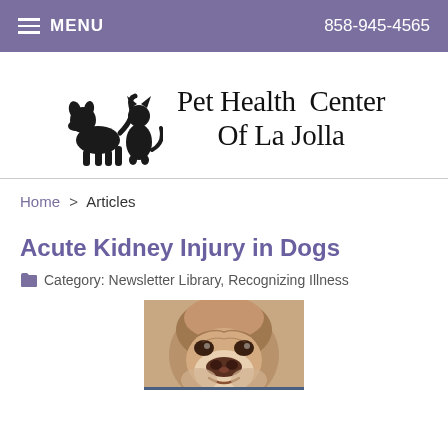MENU   858-945-4565
[Figure (logo): Pet Health Center Of La Jolla logo with silhouettes of a dog and cat sitting together, and text 'Pet Health Center Of La Jolla' in serif font]
Home > Articles
Acute Kidney Injury in Dogs
Category: Newsletter Library, Recognizing Illness
[Figure (photo): Close-up photo of a bulldog looking upward, brown and white coloring]